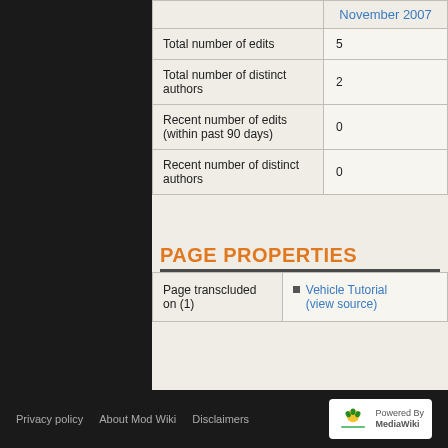|  | November 2007 |
| --- | --- |
| Total number of edits | 5 |
| Total number of distinct authors | 2 |
| Recent number of edits (within past 90 days) | 0 |
| Recent number of distinct authors | 0 |
PAGE PROPERTIES
| Page transcluded on (1) | Vehicle Tutorial (view source) |
Privacy policy   About Mod Wiki   Disclaimers   Powered by MediaWiki